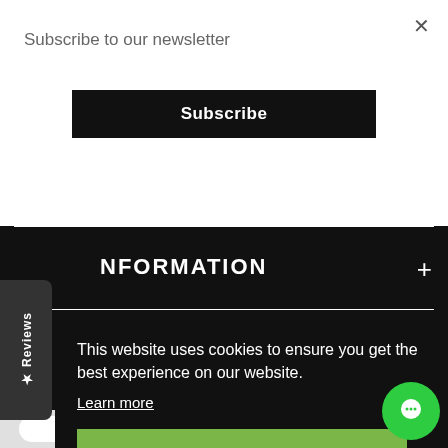Subscribe to our newsletter
Subscribe
NFORMATION
This website uses cookies to ensure you get the best experience on our website.
Learn more
Got it!
★ Reviews